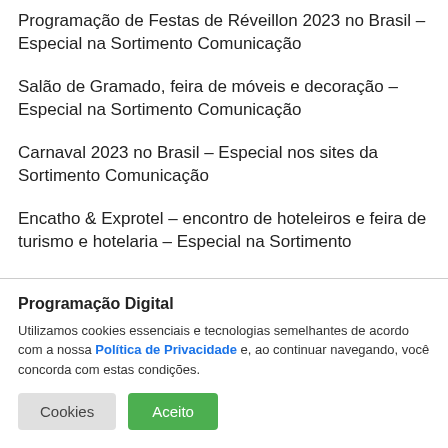Programação de Festas de Réveillon 2023 no Brasil – Especial na Sortimento Comunicação
Salão de Gramado, feira de móveis e decoração – Especial na Sortimento Comunicação
Carnaval 2023 no Brasil – Especial nos sites da Sortimento Comunicação
Encatho & Exprotel – encontro de hoteleiros e feira de turismo e hotelaria – Especial na Sortimento
Programação Digital
Utilizamos cookies essenciais e tecnologias semelhantes de acordo com a nossa Política de Privacidade e, ao continuar navegando, você concorda com estas condições.